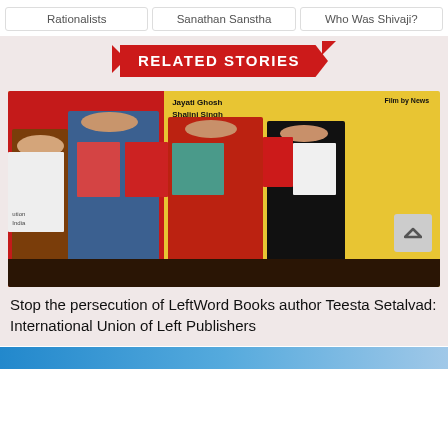Rationalists
Sanathan Sanstha
Who Was Shivaji?
RELATED STORIES
[Figure (photo): Four people standing at a table holding books at what appears to be a book launch event, with a yellow and red banner backdrop showing names including Jayati Ghosh, Shalini Singh, Teesta Setalvad, and others.]
Stop the persecution of LeftWord Books author Teesta Setalvad: International Union of Left Publishers